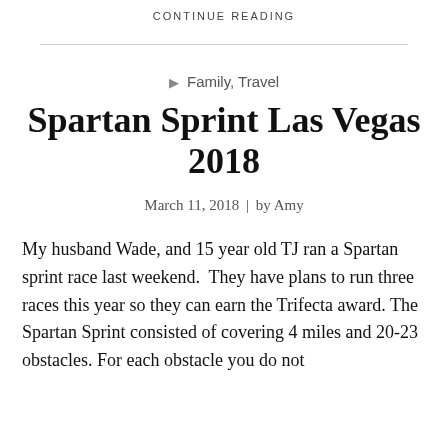CONTINUE READING
Family, Travel
Spartan Sprint Las Vegas 2018
March 11, 2018 | by Amy
My husband Wade, and 15 year old TJ ran a Spartan sprint race last weekend.  They have plans to run three races this year so they can earn the Trifecta award. The Spartan Sprint consisted of covering 4 miles and 20-23 obstacles. For each obstacle you do not